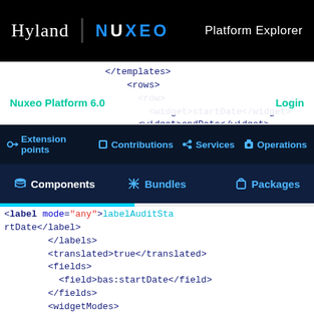Hyland | NUXEO  Platform Explorer
</templates>
<rows>
  <row>
    <widget>startDate</widget>
    <widget>endDate</widget>
Nuxeo Platform 6.0   Login
Extension points   Contributions   Services   Operations
Components   Bundles   Packages
<label mode="any">labelAuditStartDate</label>
</labels>
<translated>true</translated>
<fields>
  <field>bas:startDate</field>
</fields>
<widgetModes>
  <mode value="create">hidden</mode>
</widgetModes>
<properties widgetMode="view">
  <property name="pattern">#{nxu:basicDateAndTimeFormater()}</property>